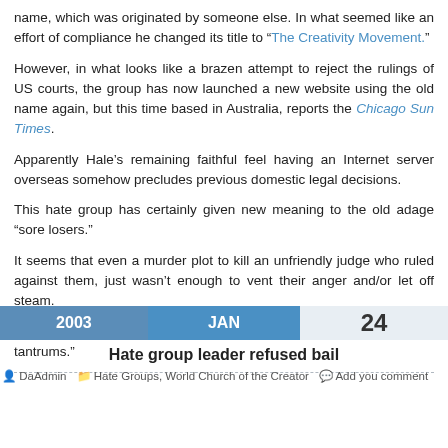name, which was originated by someone else. In what seemed like an effort of compliance he changed its title to "The Creativity Movement."
However, in what looks like a brazen attempt to reject the rulings of US courts, the group has now launched a new website using the old name again, but this time based in Australia, reports the Chicago Sun Times.
Apparently Hale’s remaining faithful feel having an Internet server overseas somehow precludes previous domestic legal decisions.
This hate group has certainly given new meaning to the old adage “sore losers.”
It seems that even a murder plot to kill an unfriendly judge who ruled against them, just wasn’t enough to vent their anger and/or let off steam.
These losers seem still in the midst of the “mother of all temper tantrums.”
Hate group leader refused bail
DaAdmin  Hate Groups, World Church of the Creator  Add you comment